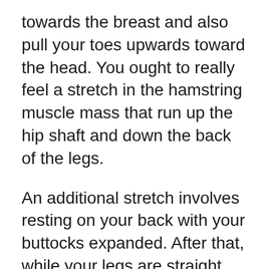towards the breast and also pull your toes upwards toward the head. You ought to really feel a stretch in the hamstring muscle mass that run up the hip shaft and down the back of the legs.
An additional stretch involves resting on your back with your buttocks expanded. After that, while your legs are straight, draw the within your knees towards your breast. You will certainly feel the stretch in the hamstring muscle mass that run up and also down the rear of your legs. Repeat on the other side. If you can not get to over and touch your toes, you can use a little block to sustain them. If you can not pull your butt to the ground, you might wish to have a person gently use pressure or take a break.